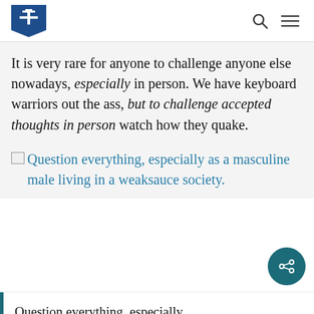[Logo: TK shield] [search icon] [menu icon]
It is very rare for anyone to challenge anyone else nowadays, especially in person. We have keyboard warriors out the ass, but to challenge accepted thoughts in person watch how they quake.
Question everything, especially as a masculine male living in a weaksauce society.
Question everything, especially